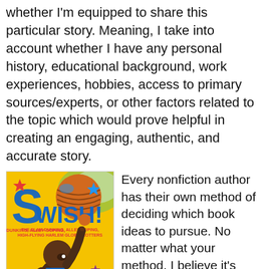whether I'm equipped to share this particular story. Meaning, I take into account whether I have any personal history, educational background, work experiences, hobbies, access to primary sources/experts, or other factors related to the topic which would prove helpful in creating an engaging, authentic, and accurate story.
[Figure (illustration): Book cover of 'Swish! The Slam-Dunking, Alley-Ooping, High-Flying Harlem Globetrotters' by Suzanne Blade and Don Tate. Yellow background with a stylized illustration of a Black basketball player spinning a basketball on one finger, looking up. Large blue stylized 'S' in upper left with a red star.]
Every nonfiction author has their own method of deciding which book ideas to pursue. No matter what your method, I believe it's helpful to spend considerable time in the “idea phase” of a project. Because once you begin a nonfiction story, you’ll likely spend years researching, revising, and editing, not to mention reviewing artist sketches, fact checking, marketing, and more. So it’s beneficial to select a topic you’re over-the-moon about, because your journey with that project might end up longer